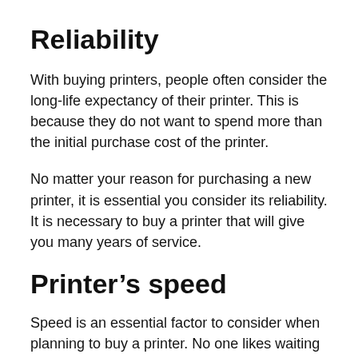Reliability
With buying printers, people often consider the long-life expectancy of their printer. This is because they do not want to spend more than the initial purchase cost of the printer.
No matter your reason for purchasing a new printer, it is essential you consider its reliability. It is necessary to buy a printer that will give you many years of service.
Printer’s speed
Speed is an essential factor to consider when planning to buy a printer. No one likes waiting around for hours for printouts. It is